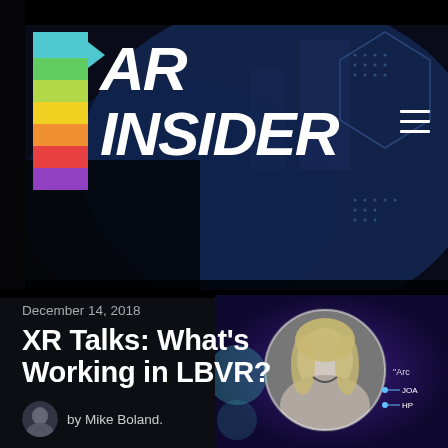[Figure (screenshot): AR Insider website header with dark blue atmospheric background showing a VR/AR scene, rainbow-colored vertical stripe logo element, large white 'AR INSIDER' text logo, and hamburger menu icon]
December 14, 2018
XR Talks: What’s Working in LBVR?
by Mike Boland.
[Figure (photo): Black and white portrait photo of a woman (Joan) with blonde hair, smiling, shown in circular crop on purple/blue panel background with text 'Arc' and labels 'JOAN' and 'HP' visible]